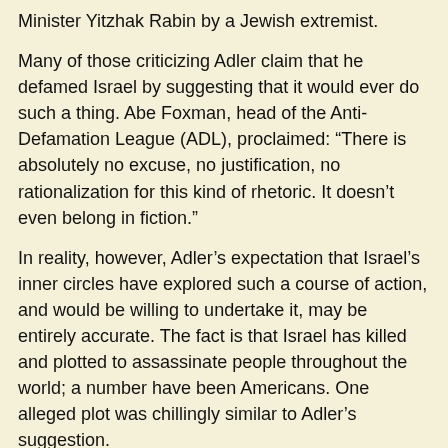Minister Yitzhak Rabin by a Jewish extremist.
Many of those criticizing Adler claim that he defamed Israel by suggesting that it would ever do such a thing. Abe Foxman, head of the Anti-Defamation League (ADL), proclaimed: “There is absolutely no excuse, no justification, no rationalization for this kind of rhetoric. It doesn’t even belong in fiction.”
In reality, however, Adler’s expectation that Israel’s inner circles have explored such a course of action, and would be willing to undertake it, may be entirely accurate. The fact is that Israel has killed and plotted to assassinate people throughout the world; a number have been Americans. One alleged plot was chillingly similar to Adler’s suggestion.
There is evidence that in 1991 an Israeli undercover team planned to assassinate a U.S. president. The intended victim was George Herbert Walker Bush...MORE...
All of this has been minimally reported in the U.S. press. While major news organizations from England to Israel to